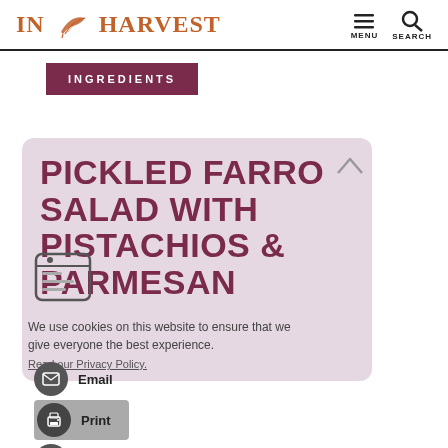In Harvest — MENU SEARCH
INGREDIENTS
PICKLED FARRO SALAD WITH PISTACHIOS & PARMESAN
We use cookies on this website to ensure that we give everyone the best experience.
Read our Privacy Policy.
Email
Print
Pin This